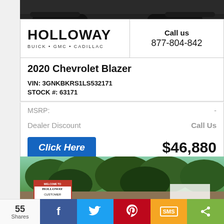[Figure (photo): Top portion of a dark vehicle on white/grey background]
[Figure (logo): Holloway Buick GMC Cadillac dealer logo]
Call us
877-804-842
2020 Chevrolet Blazer
VIN: 3GNKBKRS1LS532171
STOCK #: 63171
MSRP:  -
Dealer Discount  Call Us
Click Here  $46,880
[Figure (photo): Exterior photo of Holloway dealership with green trees and a Holloway Customer sign]
55 Shares
[Figure (infographic): Social share bar with Facebook, Twitter, Pinterest, SMS, and share buttons]